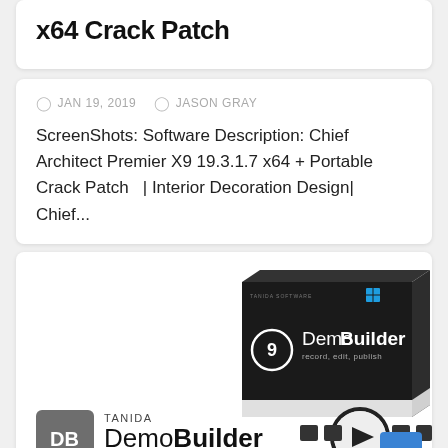x64 Crack Patch
JAN 19, 2019   JASON GRAY
ScreenShots: Software Description: Chief Architect Premier X9 19.3.1.7 x64 + Portable Crack Patch  |  Interior Decoration Design|  Chief...
[Figure (photo): Product box image for TANIDA DemoBuilder 9 software, showing a dark-colored software box with the DemoBuilder logo, text 'record, edit, publish', and a play button icon. Below is the TANIDA DemoBuilder logo with DB icon and www.YasDL.com URL.]